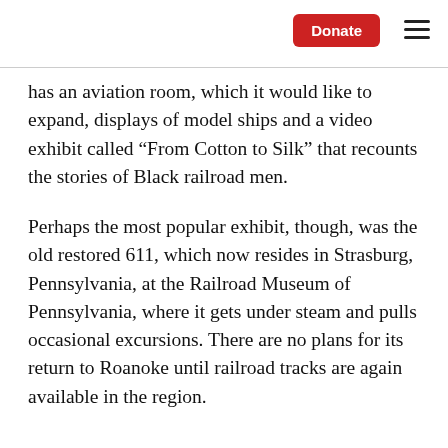Donate [button]
has an aviation room, which it would like to expand, displays of model ships and a video exhibit called “From Cotton to Silk” that recounts the stories of Black railroad men.
Perhaps the most popular exhibit, though, was the old restored 611, which now resides in Strasburg, Pennsylvania, at the Railroad Museum of Pennsylvania, where it gets under steam and pulls occasional excursions. There are no plans for its return to Roanoke until railroad tracks are again available in the region.